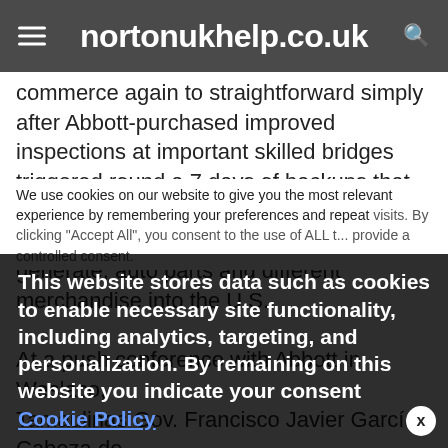nortonukhelp.co.uk
commerce again to straightforward simply after Abbott-purchased improved inspections at important skilled bridges triggered round a 7 days of backups that remaining truckers ready for hours and every so often instances to get lots of generate, auto parts and different merchandise into the U.S.
At a push conference with Abbott in Weslaco, Tamaulinas Gov. Francisco Javier García Cabeza de
We use cookies on our website to give you the most relevant experience by remembering your preferences and repeat visits. By clicking "Accept All", you consent to the use of ALL t... provide a controlled consent.
This website stores data such as cookies to enable necessary site functionality, including analytics, targeting, and personalization. By remaining on this website you indicate your consent Cookie Policy